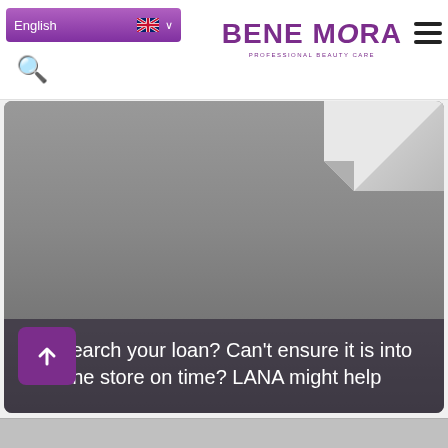English | BENE MORA PROFESSIONAL BEAUTY CARE
[Figure (screenshot): Hero image showing a grey background with a folded white corner in the top right, overlaid with text: Research your loan? Can't ensure it is into the store on time? LANA might help. A purple scroll-to-top button with an upward arrow is visible at the bottom left.]
Research your loan? Can't ensure it is into the store on time? LANA might help